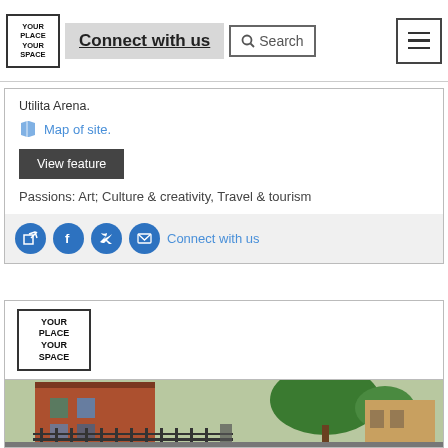Connect with us | Search
Utilita Arena.
Map of site.
View feature
Passions: Art; Culture & creativity, Travel & tourism
Connect with us
[Figure (screenshot): Your Place Your Space logo card with red brick building photo below]
[Figure (photo): Exterior photo of a red brick building with trees and iron railings]